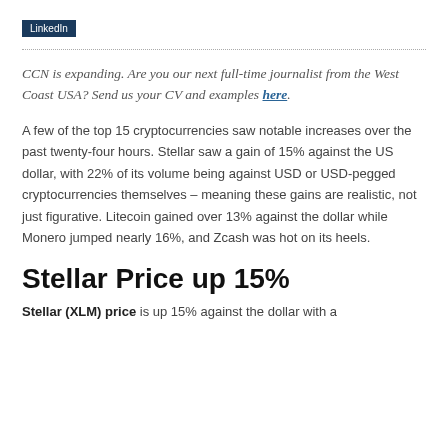[Figure (logo): LinkedIn button/badge in dark navy blue]
CCN is expanding. Are you our next full-time journalist from the West Coast USA? Send us your CV and examples here.
A few of the top 15 cryptocurrencies saw notable increases over the past twenty-four hours. Stellar saw a gain of 15% against the US dollar, with 22% of its volume being against USD or USD-pegged cryptocurrencies themselves – meaning these gains are realistic, not just figurative. Litecoin gained over 13% against the dollar while Monero jumped nearly 16%, and Zcash was hot on its heels.
Stellar Price up 15%
Stellar (XLM) price is up 15% against the dollar with a